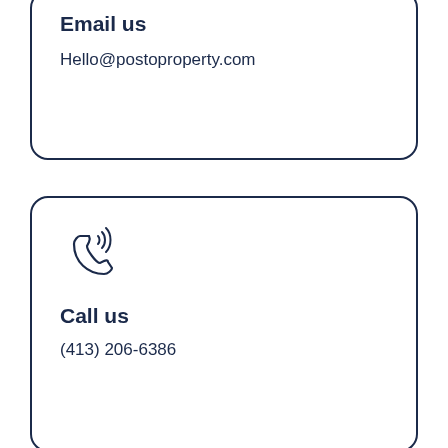Email us
Hello@postoproperty.com
[Figure (illustration): Phone/call icon with signal waves]
Call us
(413) 206-6386
[Figure (logo): Posto Property Management logo with building illustration and text 'posto PROPERTY MANAGEMENT']
Manage your property